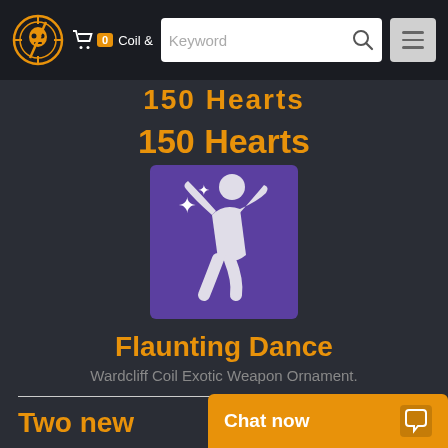Dieselpunk
150 Hearts
[Figure (illustration): Purple square icon showing a white silhouette of a person striking a dance pose with sparkle stars, representing the Flaunting Dance emote]
Flaunting Dance
Wardcliff Coil Exotic Weapon Ornament.
Two new